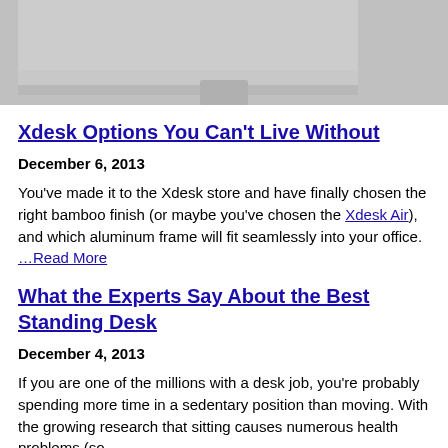[Figure (photo): Partial view of a standing desk surface with metallic/gray finish and a support post visible at bottom center]
Xdesk Options You Can't Live Without
December 6, 2013
You've made it to the Xdesk store and have finally chosen the right bamboo finish (or maybe you've chosen the Xdesk Air), and which aluminum frame will fit seamlessly into your office. …Read More
What the Experts Say About the Best Standing Desk
December 4, 2013
If you are one of the millions with a desk job, you're probably spending more time in a sedentary position than moving. With the growing research that sitting causes numerous health problems (so